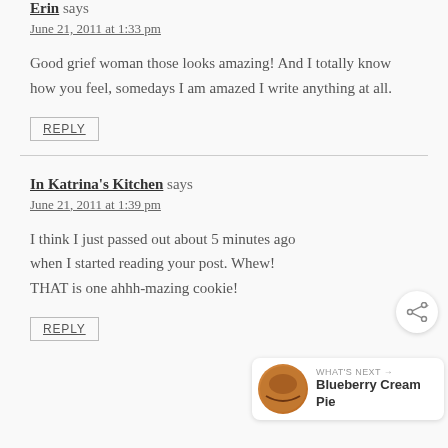Erin says
June 21, 2011 at 1:33 pm
Good grief woman those looks amazing! And I totally know how you feel, somedays I am amazed I write anything at all.
REPLY
In Katrina's Kitchen says
June 21, 2011 at 1:39 pm
I think I just passed out about 5 minutes ago when I started reading your post. Whew! THAT is one ahhh-mazing cookie!
REPLY